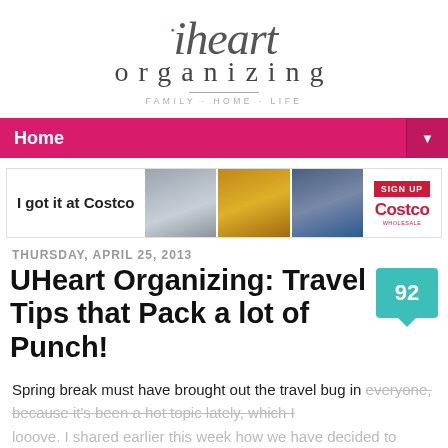iheartorganizing · FAMILY · HOME · LIFE
Home
[Figure (other): Costco advertisement banner with text 'I got it at Costco', three product photos, sign up button, and Costco logo]
THURSDAY, APRIL 25, 2013
UHeart Organizing: Travel Tips that Pack a lot of Punch!
Spring break must have brought out the travel bug in everyone, because it's been a hot topic lately, which I looove.  I shared earlier this week how we have decided to keep the car stocked when traveling with the kids.  And